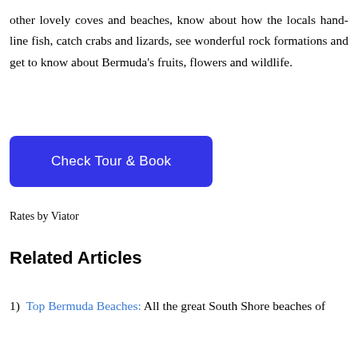other lovely coves and beaches, know about how the locals hand-line fish, catch crabs and lizards, see wonderful rock formations and get to know about Bermuda's fruits, flowers and wildlife.
Check Tour & Book
Rates by Viator
Related Articles
1) Top Bermuda Beaches: All the great South Shore beaches of